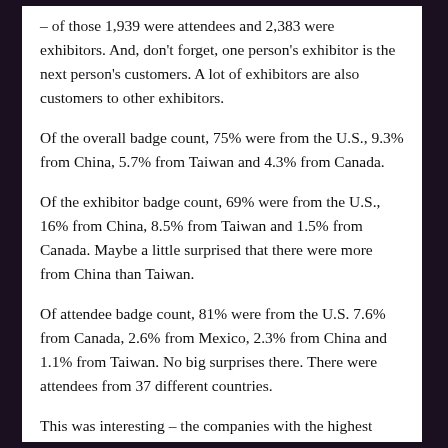– of those 1,939 were attendees and 2,383 were exhibitors.  And, don't forget, one person's exhibitor is the next person's customers.  A lot of exhibitors are also customers to other exhibitors.
Of the overall badge count, 75% were from the U.S., 9.3% from China, 5.7% from Taiwan and 4.3% from Canada.
Of the exhibitor badge count, 69% were from the U.S., 16% from China, 8.5% from Taiwan and 1.5% from Canada.  Maybe a little surprised that there were more from China than Taiwan.
Of attendee badge count, 81% were from the U.S.  7.6% from Canada, 2.6% from Mexico, 2.3% from China and 1.1% from Taiwan.  No big surprises there.  There were attendees from 37 different countries.
This was interesting – the companies with the highest badge counts were Brighton Best (90),